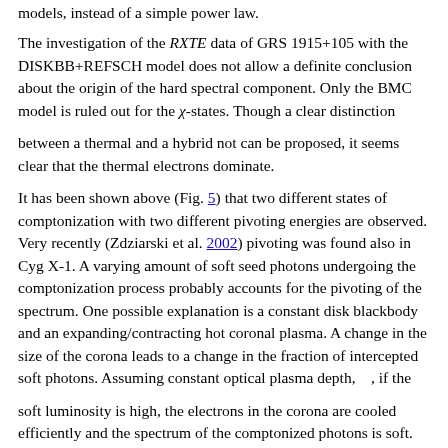models, instead of a simple power law.
The investigation of the RXTE data of GRS 1915+105 with the DISKBB+REFSCH model does not allow a definite conclusion about the origin of the hard spectral component. Only the BMC model is ruled out for the χ-states. Though a clear distinction
between a thermal and a hybrid not can be proposed, it seems clear that the thermal electrons dominate.
It has been shown above (Fig. 5) that two different states of comptonization with two different pivoting energies are observed. Very recently (Zdziarski et al. 2002) pivoting was found also in Cyg X-1. A varying amount of soft seed photons undergoing the comptonization process probably accounts for the pivoting of the spectrum. One possible explanation is a constant disk blackbody and an expanding/contracting hot coronal plasma. A change in the size of the corona leads to a change in the fraction of intercepted soft photons. Assuming constant optical plasma depth, τ, if the
soft luminosity is high, the electrons in the corona are cooled efficiently and the spectrum of the comptonized photons is soft. On the other hand, if the soft luminosity decreases, the temperature of the corona increases and the spectrum hardens). The ocurrance of two differing pivoting branches suggests the existence of two states with different and/or different electron composition